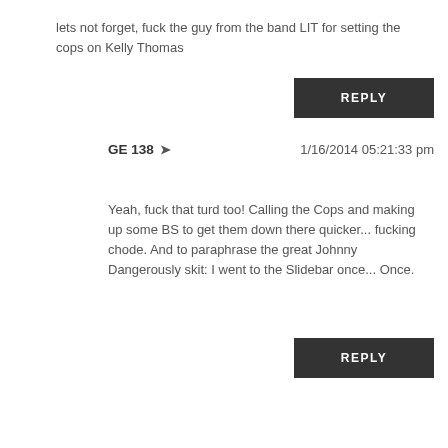lets not forget, fuck the guy from the band LIT for setting the cops on Kelly Thomas
REPLY
GE 138 ➤  1/16/2014 05:21:33 pm
Yeah, fuck that turd too! Calling the Cops and making up some BS to get them down there quicker... fucking chode. And to paraphrase the great Johnny Dangerously skit: I went to the Slidebar once... Once.
REPLY